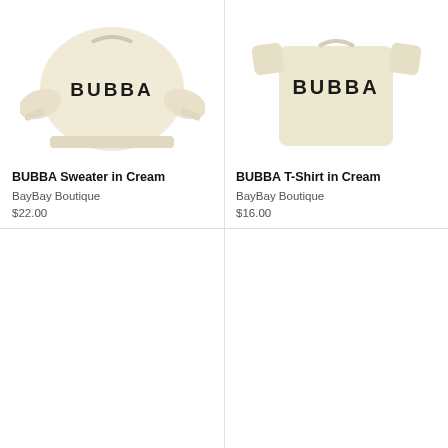[Figure (photo): Cream-colored BUBBA sweatshirt for kids with bold varsity-style lettering]
BUBBA Sweater in Cream
BayBay Boutique
$22.00
[Figure (photo): Cream-colored BUBBA t-shirt for kids with bold varsity-style lettering]
BUBBA T-Shirt in Cream
BayBay Boutique
$16.00
[Figure (photo): White floral print long-sleeve baby bodysuit with red flower pattern, SALE badge]
[Figure (photo): Light yellow asymmetric one-shoulder crop top and bike shorts set, SALE badge]